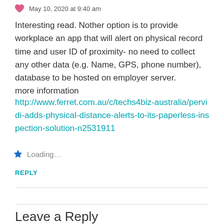May 10, 2020 at 9:40 am
Interesting read. Nother option is to provide workplace an app that will alert on physical record time and user ID of proximity- no need to collect any other data (e.g. Name, GPS, phone number), database to be hosted on employer server.
more information
http://www.ferret.com.au/c/techs4biz-australia/pervidi-adds-physical-distance-alerts-to-its-paperless-inspection-solution-n2531911
Loading...
REPLY
Leave a Reply